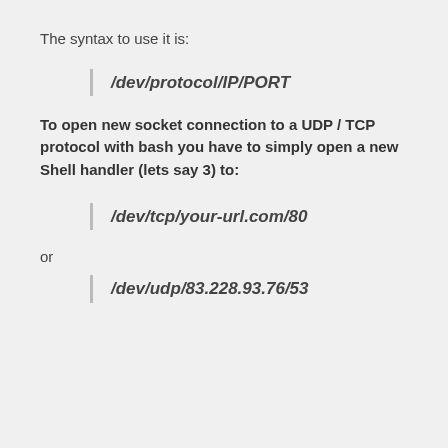The syntax to use it is:
To open new socket connection to a UDP / TCP protocol with bash you have to simply open a new Shell handler (lets say 3) to:
or